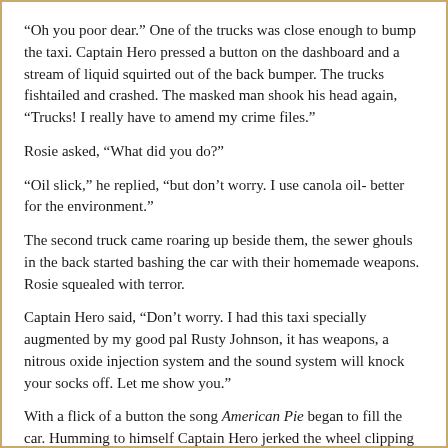“Oh you poor dear.” One of the trucks was close enough to bump the taxi. Captain Hero pressed a button on the dashboard and a stream of liquid squirted out of the back bumper. The trucks fishtailed and crashed. The masked man shook his head again, “Trucks! I really have to amend my crime files.”
Rosie asked, “What did you do?”
“Oil slick,” he replied, “but don’t worry. I use canola oil- better for the environment.”
The second truck came roaring up beside them, the sewer ghouls in the back started bashing the car with their homemade weapons. Rosie squealed with terror.
Captain Hero said, “Don’t worry. I had this taxi specially augmented by my good pal Rusty Johnson, it has weapons, a nitrous oxide injection system and the sound system will knock your socks off. Let me show you.”
With a flick of a button the song American Pie began to fill the car. Humming to himself Captain Hero jerked the wheel clipping the driver’s side tire of the second truck. One of the sewer ghouls lept out and landed on the hood of the taxi just before the truck spun out and crashed sideways into a lampost.
“I wanted the team to drive these creeps out of the tunnels but they got a lawyer and set up restraining orders,” Captain Hero explained, “something